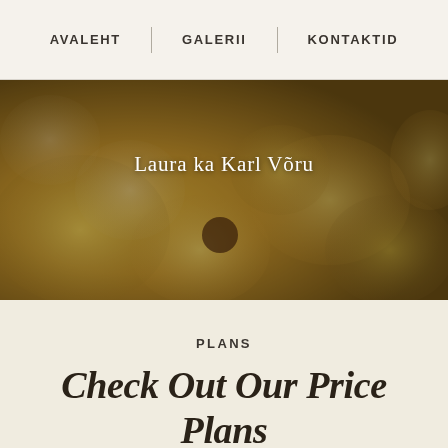AVALEHT | GALERII | KONTAKTID
[Figure (photo): Blurred close-up photo of food items (possibly sushi or pastries with toppings), warm yellow-orange tones with dark olive overlay. Text overlay reads 'Laura ka Karl Võru'.]
Laura ka Karl Võru
PLANS
Check Out Our Price Plans